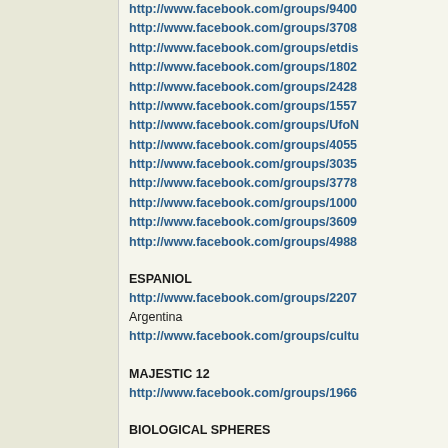http://www.facebook.com/groups/9400...
http://www.facebook.com/groups/3708...
http://www.facebook.com/groups/etdis...
http://www.facebook.com/groups/1802...
http://www.facebook.com/groups/2428...
http://www.facebook.com/groups/1557...
http://www.facebook.com/groups/UfoN...
http://www.facebook.com/groups/4055...
http://www.facebook.com/groups/3035...
http://www.facebook.com/groups/3778...
http://www.facebook.com/groups/1000...
http://www.facebook.com/groups/3609...
http://www.facebook.com/groups/4988...
ESPANIOL
http://www.facebook.com/groups/2207...
Argentina
http://www.facebook.com/groups/cultu...
MAJESTIC 12
http://www.facebook.com/groups/1966...
BIOLOGICAL SPHERES
http://www.facebook.com/groups/2995...
MOON
http://www.facebook.com/groups/LAR...
... h.Society/
http://www.facebook.com/groups/4491...
http://www.facebook.com/groups/1282...